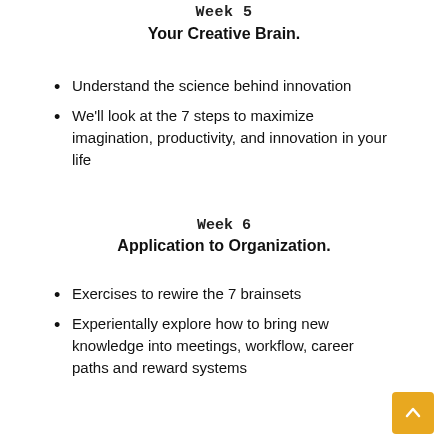Week 5
Your Creative Brain.
Understand the science behind innovation
We'll look at the 7 steps to maximize imagination, productivity, and innovation in your life
Week 6
Application to Organization.
Exercises to rewire the 7 brainsets
Experientally explore how to bring new knowledge into meetings, workflow, career paths and reward systems